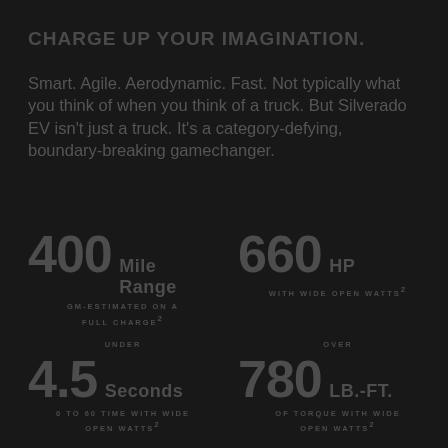CHARGE UP YOUR IMAGINATION.
Smart. Agile. Aerodynamic. Fast. Not typically what you think of when you think of a truck. But Silverado EV isn't just a truck. It's a category-defying, boundary-breaking gamechanger.
400 Mile Range GM-ESTIMATED ON A FULL CHARGE²
660 HP WITH WIDE OPEN WATTS²
UNDER
4.5 Seconds
0 TO 60 TIME WITH WIDE OPEN WATTS²
OVER
780 LB.-FT.
OF TORQUE WITH WIDE OPEN WATTS²